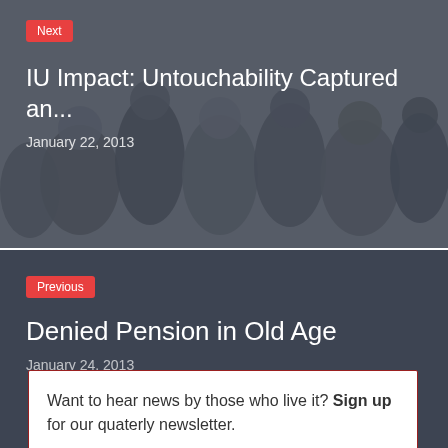[Figure (photo): Dark overlay photo of a crowd of people, used as background for 'Next' article navigation block]
Next
IU Impact: Untouchability Captured an…
January 22, 2013
Previous
Denied Pension in Old Age
January 24, 2013
Want to hear news by those who live it? Sign up for our quaterly newsletter.
Your email address here